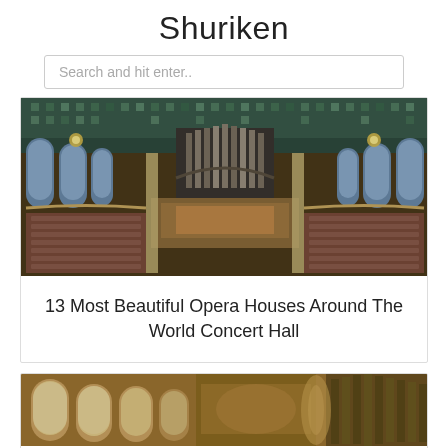Shuriken
Search and hit enter..
[Figure (photo): Interior of a grand ornate concert hall with arched stained-glass windows, chandeliers, organ pipes, decorative mosaic ceiling, and rows of red seats in a circular arrangement.]
13 Most Beautiful Opera Houses Around The World Concert Hall
[Figure (photo): Partial view of the same ornate concert hall interior, showing arched windows with warm golden light and decorative elements including organ pipes on the right.]